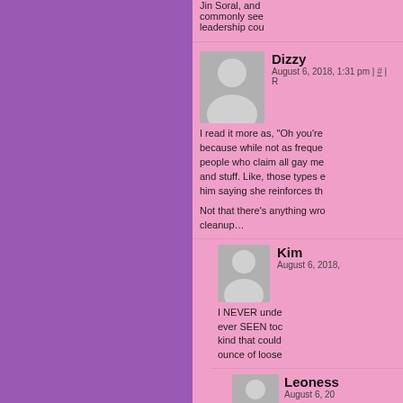Jin Soral, and commonly see leadership cou
Dizzy
August 6, 2018, 1:31 pm | # | R
I read it more as, "Oh you're because while not as freque people who claim all gay me and stuff. Like, those types e him saying she reinforces th
Not that there's anything wro cleanup…
Kim
August 6, 2018,
I NEVER unde ever SEEN toc kind that could ounce of loose
Leoness
August 6, 20
Glitter is th